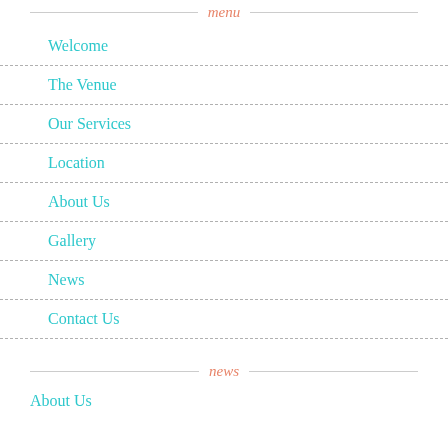menu
Welcome
The Venue
Our Services
Location
About Us
Gallery
News
Contact Us
news
About Us